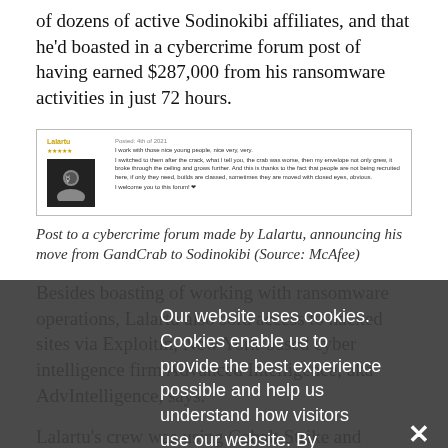of dozens of active Sodinokibi affiliates, and that he'd boasted in a cybercrime forum post of having earned $287,000 from his ransomware activities in just 72 hours.
[Figure (screenshot): Screenshot of a cybercrime forum post by user Lalartu announcing his move from GandCrab to Sodinokibi]
Post to a cybercrime forum made by Lalartu, announcing his move from GandCrab to Sodinokibi (Source: McAfee)
Besides boasting of working with ransomware operations, Lalartu also sold access to hacked sites via Exploitin, New York-based cyber intelligence firm Advanced Intelligence, aka AdvIntelligence, says.
Lalartu's crew was using Cobalt Strike and Metasploit penetration testing tools, backed by stolen remote desktop protocol credentials, to breach sites and gain persistent remote access to administrative panels
Our website uses cookies. Cookies enable us to provide the best experience possible and help us understand how visitors use our website. By browsing healthcareinfosecurity.com, you agree to our use of cookies.